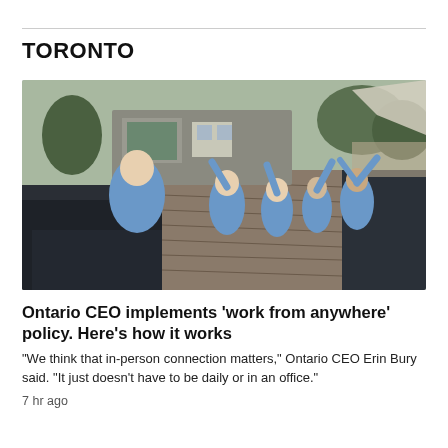TORONTO
[Figure (photo): Group of people wearing matching blue sweatshirts posing on a wooden dock by the water, with a building and trees in the background.]
Ontario CEO implements 'work from anywhere' policy. Here's how it works
“We think that in-person connection matters,” Ontario CEO Erin Bury said. “It just doesn’t have to be daily or in an office.”
7 hr ago